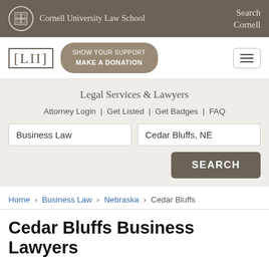Cornell University Law School | Search Cornell
[Figure (logo): LII Legal Information Institute logo with donation button]
Legal Services & Lawyers
Attorney Login | Get Listed | Get Badges | FAQ
Search fields: Business Law | Cedar Bluffs, NE | SEARCH button
Home › Business Law › Nebraska › Cedar Bluffs
Cedar Bluffs Business Lawyers